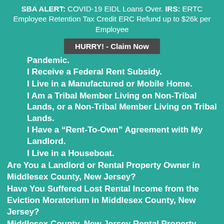SBA ALERT: COVID-19 EIDL Loans Over. IRS: ERTC Employee Retention Tax Credit ERC Refund up to $26k per Employee
HURRY! - Claim Now
Pandemic.
I Receive a Federal Rent Subsidy.
I Live in a Manufactured or Mobile Home.
I Am a Tribal Member Living on Non-Tribal Lands, or a Non-Tribal Member Living on Tribal Lands.
I Have a “Rent-To-Own” Agreement with My Landlord.
I Live in a Houseboat.
Are You a Landlord or Rental Property Owner in Middlesex County, New Jersey?
Have You Suffered Lost Rental Income from the Eviction Moratorium in Middlesex County, New Jersey?
Middlesex County, New Jersey Rental Property